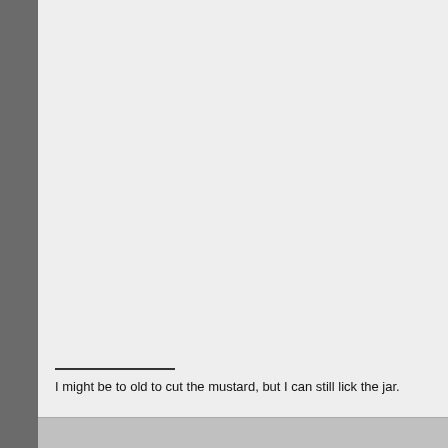I might be to old to cut the mustard, but I can still lick the jar.